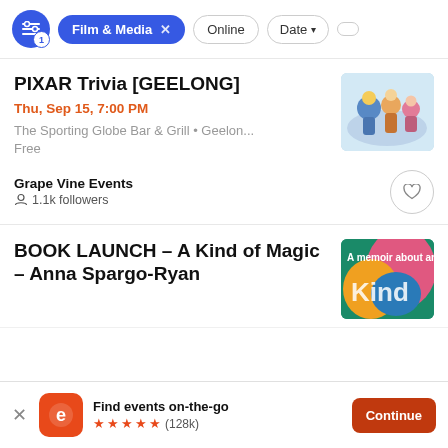Film & Media × | Online | Date
PIXAR Trivia [GEELONG]
Thu, Sep 15, 7:00 PM
The Sporting Globe Bar & Grill • Geelon...
Free
Grape Vine Events
1.1k followers
[Figure (photo): Pixar character figurines including Buzz Lightyear and other characters]
BOOK LAUNCH – A Kind of Magic – Anna Spargo-Ryan
[Figure (photo): Book cover for 'A Kind of Magic' memoir with colorful abstract design]
Find events on-the-go ★★★★★ (128k)
Continue